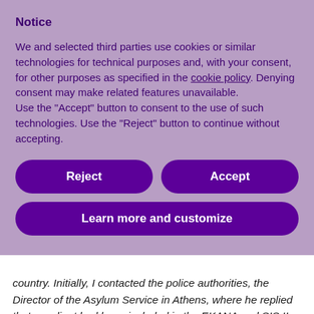Notice
We and selected third parties use cookies or similar technologies for technical purposes and, with your consent, for other purposes as specified in the cookie policy. Denying consent may make related features unavailable.
Use the “Accept” button to consent to the use of such technologies. Use the “Reject” button to continue without accepting.
Reject
Accept
Learn more and customize
country. Initially, I contacted the police authorities, the Director of the Asylum Service in Athens, where he replied that my client had been included in the EKANA and SIS II because his visa had been rejected by the Consulate in Istanbul."
The truth was quite simply to be found in the operation of